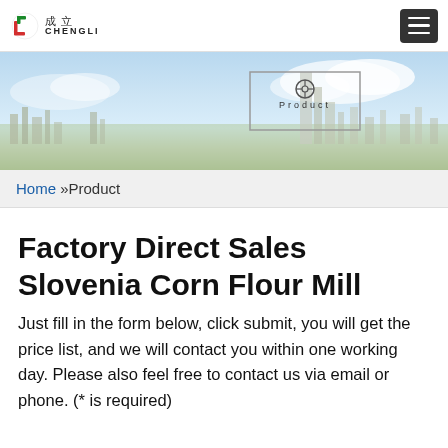CHENGLI 成立 [logo] [hamburger menu]
[Figure (illustration): Website banner with blue sky, clouds, and city skyline silhouette. Center has a bracketed box with a steering-wheel icon labeled 'Product' in spaced letters.]
Home »Product
Factory Direct Sales Slovenia Corn Flour Mill
Just fill in the form below, click submit, you will get the price list, and we will contact you within one working day. Please also feel free to contact us via email or phone. (* is required)